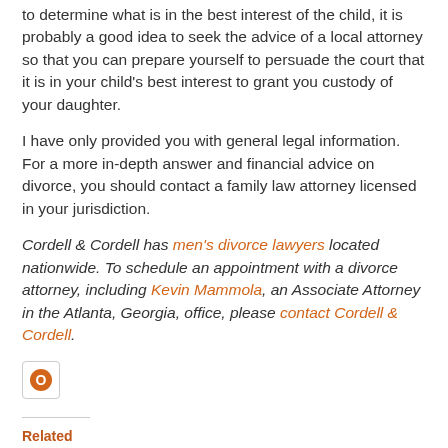to determine what is in the best interest of the child, it is probably a good idea to seek the advice of a local attorney so that you can prepare yourself to persuade the court that it is in your child's best interest to grant you custody of your daughter.
I have only provided you with general legal information. For a more in-depth answer and financial advice on divorce, you should contact a family law attorney licensed in your jurisdiction.
Cordell & Cordell has men's divorce lawyers located nationwide. To schedule an appointment with a divorce attorney, including Kevin Mammola, an Associate Attorney in the Atlanta, Georgia, office, please contact Cordell & Cordell.
[Figure (logo): Orange circular O logo in a bordered box]
Related
Custody Battle: 10 Things That
Stopping child support for kids